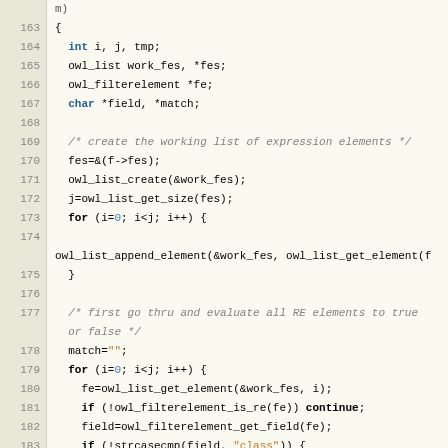[Figure (screenshot): Source code listing in C showing lines 163-192 of a function dealing with owl filter elements. The code includes variable declarations, list operations, and conditional checks for message fields like class, instance, sender, recipient, and body.]